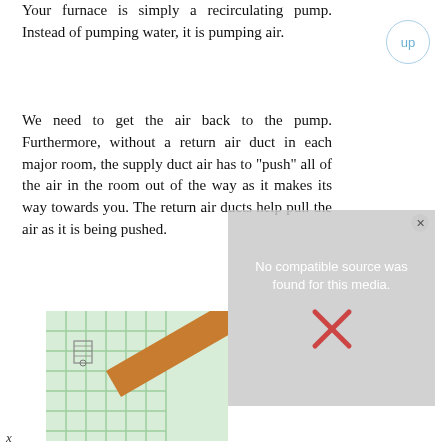Your furnace is simply a recirculating pump. Instead of pumping water, it is pumping air.
We need to get the air back to the pump. Furthermore, without a return air duct in each major room, the supply duct air has to "push" all of the air in the room out of the way as it makes its way towards you. The return air ducts help pull the air as it is being pushed.
[Figure (screenshot): Video player overlay showing 'No compatible source was found for this media.' with a close button and X mark, overlapping a partial image of ductwork/wall]
[Figure (photo): Partial photo of what appears to be ductwork or HVAC components near a wall or ceiling]
x